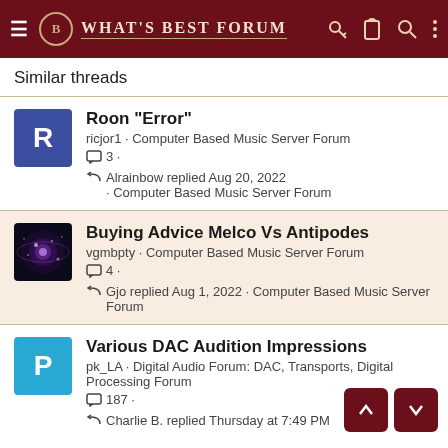WHAT'S BEST FORUM
Similar threads
Roon "Error" · ricjor1 · Computer Based Music Server Forum · 3 replies · Alrainbow replied Aug 20, 2022 · Computer Based Music Server Forum
Buying Advice Melco Vs Antipodes · vgmbpty · Computer Based Music Server Forum · 4 replies · Gjo replied Aug 1, 2022 · Computer Based Music Server Forum
Various DAC Audition Impressions · pk_LA · Digital Audio Forum: DAC, Transports, Digital Processing Forum · 187 replies · Charlie B. replied Thursday at 7:49 PM